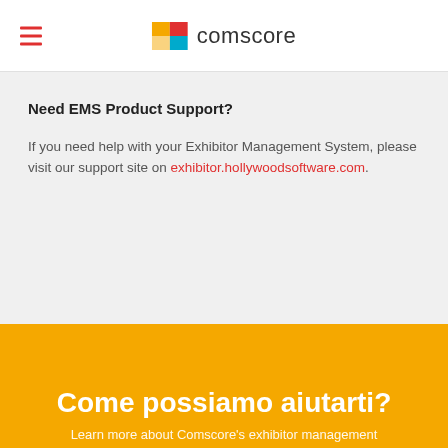comscore
Need EMS Product Support?
If you need help with your Exhibitor Management System, please visit our support site on exhibitor.hollywoodsoftware.com.
Come possiamo aiutarti?
Learn more about Comscore's exhibitor management